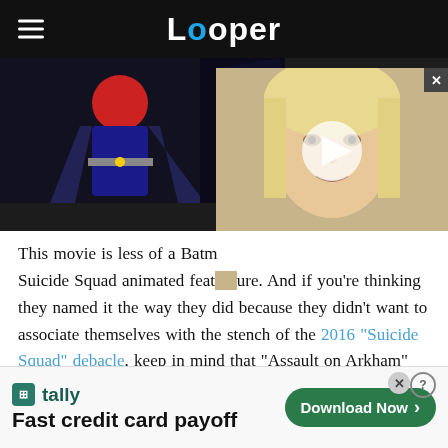Looper
[Figure (screenshot): Dark animated scene on left (Harley Quinn style character), overlapping video player thumbnail on right showing a blonde woman's face with a play button]
This movie is less of a Batman movie and more of a Suicide Squad animated feature. And if you're thinking they named it the way they did because they didn't want to associate themselves with the stench of the 2016 "Suicide Squad" debacle, keep in mind that "Assault on Arkham" came out a full two years before David Ayer's mishap (which, according
[Figure (other): Tally app advertisement banner: Fast credit card payoff. Download Now button.]